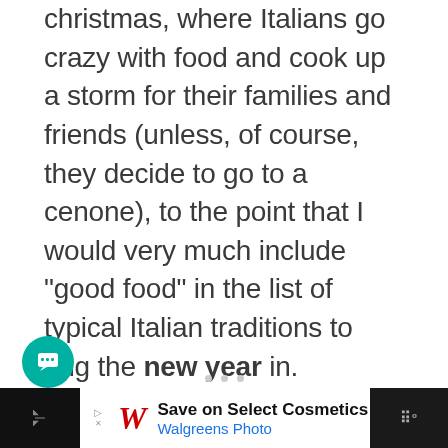christmas, where Italians go crazy with food and cook up a storm for their families and friends (unless, of course, they decide to go to a cenone), to the point that I would very much include “good food” in the list of typical Italian traditions to ring the new year in.
ADVERTISEMENT
[Figure (other): Advertisement banner at bottom showing Walgreens Photo ad: Save on Select Cosmetics, Walgreens Photo, with navigation arrow icon and menu dots]